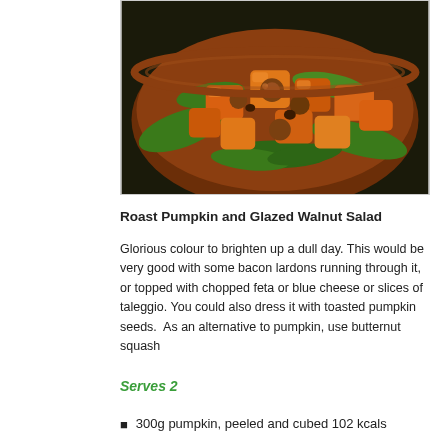[Figure (photo): A wooden bowl filled with roast pumpkin cubes, green spinach leaves, glazed walnuts and other ingredients for a salad.]
Roast Pumpkin and Glazed Walnut Salad
Glorious colour to brighten up a dull day. This would be very good with some bacon lardons running through it, or topped with chopped feta or blue cheese or slices of taleggio. You could also dress it with toasted pumpkin seeds.  As an alternative to pumpkin, use butternut squash
Serves 2
300g pumpkin, peeled and cubed 102 kcals